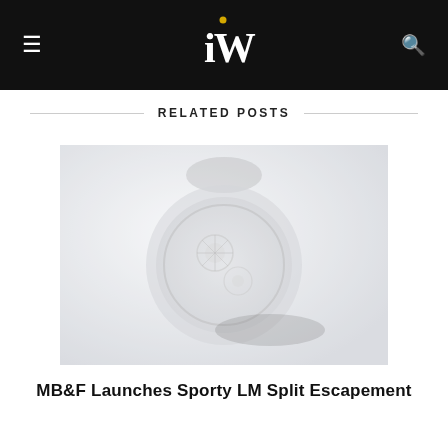iW
RELATED POSTS
[Figure (photo): A watch with visible mechanical movement and dark strap, shown at an angle against a light background — MB&F LM Split Escapement watch promotional image.]
MB&F Launches Sporty LM Split Escapement